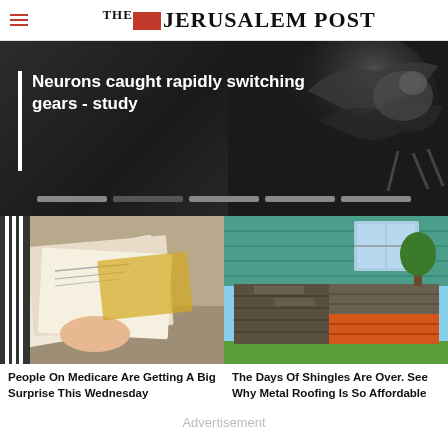THE JERUSALEM POST
[Figure (photo): Hero banner with dark background showing a bat or animal silhouette, with headline overlay: Neurons caught rapidly switching gears - study]
Neurons caught rapidly switching gears - study
[Figure (photo): Person holding several envelopes/mail pieces - Medicare related article image]
People On Medicare Are Getting A Big Surprise This Wednesday
[Figure (photo): Metal roofing shingles samples displayed on ground near a house - roofing article image]
The Days Of Shingles Are Over. See Why Metal Roofing Is So Affordable
Advertisement